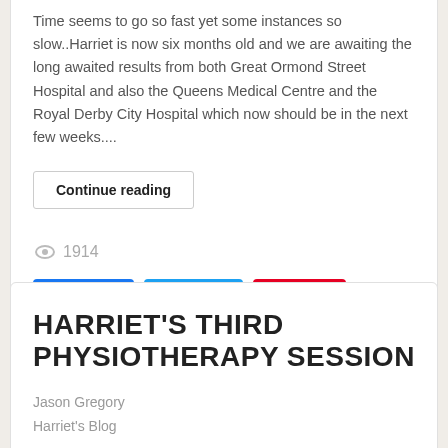Time seems to go so fast yet some instances so slow..Harriet is now six months old and we are awaiting the long awaited results from both Great Ormond Street Hospital and also the Queens Medical Centre and the Royal Derby City Hospital which now should be in the next few weeks....
Continue reading
1914
Like 0  Share  Tweet  Save
HARRIET'S THIRD PHYSIOTHERAPY SESSION
Jason Gregory
Harriet's Blog